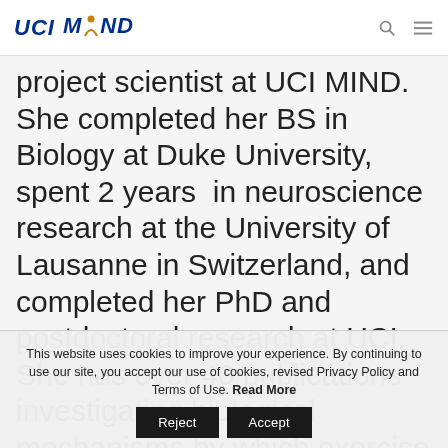UCI MIND
project scientist at UCI MIND.  She completed her BS in Biology at Duke University, spent 2 years  in neuroscience research at the University of Lausanne in Switzerland, and completed her PhD and postdoctoral research at UCI.  She has over 40 publications investigating biological mechanisms by which exercise enhances hippocampal function
This website uses cookies to improve your experience. By continuing to use our site, you accept our use of cookies, revised Privacy Policy and Terms of Use. Read More
Reject  Accept